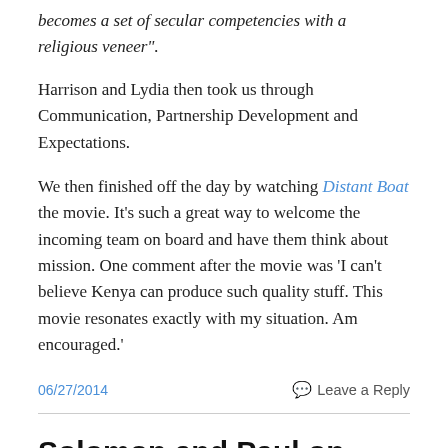becomes a set of secular competencies with a religious veneer".
Harrison and Lydia then took us through Communication, Partnership Development and Expectations.
We then finished off the day by watching Distant Boat the movie. It's such a great way to welcome the incoming team on board and have them think about mission. One comment after the movie was ‘I can't believe Kenya can produce such quality stuff. This movie resonates exactly with my situation. Am encouraged.'
06/27/2014
Leave a Reply
Solomon and Paul on